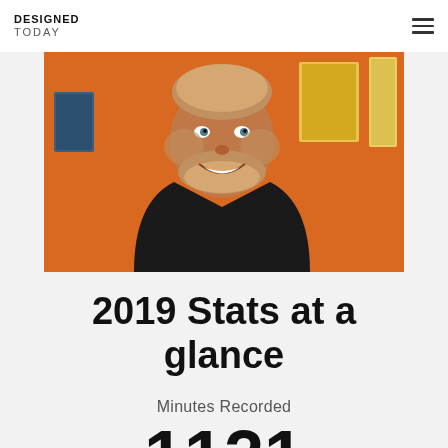DESIGNED TODAY
[Figure (photo): Portrait photo of a smiling bearded man in a dark t-shirt, orange background with framed posters/artwork visible behind him]
2019 Stats at a glance
Minutes Recorded
1121